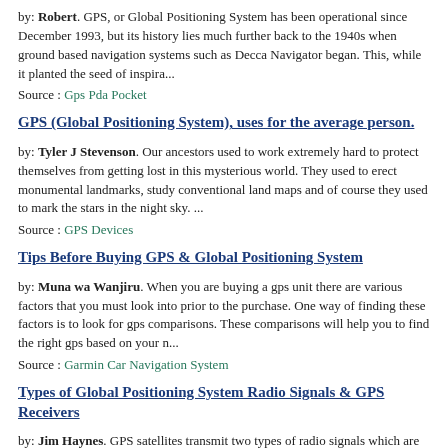by: Robert. GPS, or Global Positioning System has been operational since December 1993, but its history lies much further back to the 1940s when ground based navigation systems such as Decca Navigator began. This, while it planted the seed of inspira...
Source : Gps Pda Pocket
GPS (Global Positioning System), uses for the average person.
by: Tyler J Stevenson. Our ancestors used to work extremely hard to protect themselves from getting lost in this mysterious world. They used to erect monumental landmarks, study conventional land maps and of course they used to mark the stars in the night sky. ...
Source : GPS Devices
Tips Before Buying GPS & Global Positioning System
by: Muna wa Wanjiru. When you are buying a gps unit there are various factors that you must look into prior to the purchase. One way of finding these factors is to look for gps comparisons. These comparisons will help you to find the right gps based on your n...
Source : Garmin Car Navigation System
Types of Global Positioning System Radio Signals & GPS Receivers
by: Jim Haynes. GPS satellites transmit two types of radio signals which are C/A-code and P-code. Coarse Acquisition (C/A code) is the type of signal which is used in consumer units and is known as SPS (Standard Positioning Service). C/A-code is not as a...
Source : Navigation Systems For Cars
GPS Tips for Cars